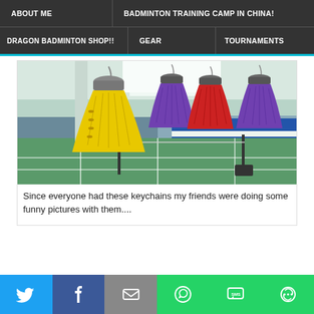ABOUT ME | BADMINTON TRAINING CAMP IN CHINA! | DRAGON BADMINTON SHOP!! | GEAR | TOURNAMENTS
[Figure (photo): Badminton shuttlecock keychains hanging from the ceiling of an indoor badminton court. One large yellow shuttlecock keychain on the left, two purple and one red in the middle-right, with a green court floor and blue/white striped wall banner visible in the background.]
Since everyone had these keychains my friends were doing some funny pictures with them....